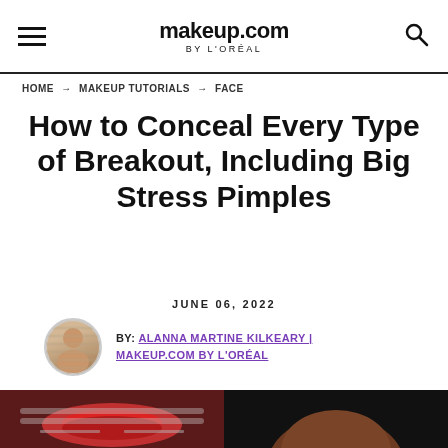makeup.com BY L'ORÉAL
HOME → MAKEUP TUTORIALS → FACE
How to Conceal Every Type of Breakout, Including Big Stress Pimples
JUNE 06, 2022
BY: ALANNA MARTINE KILKEARY | MAKEUP.COM BY L'ORÉAL
[Figure (photo): Split photo of two women's faces: left side shows a woman with red lips and glasses, right side shows a woman with dark skin against a dark background]